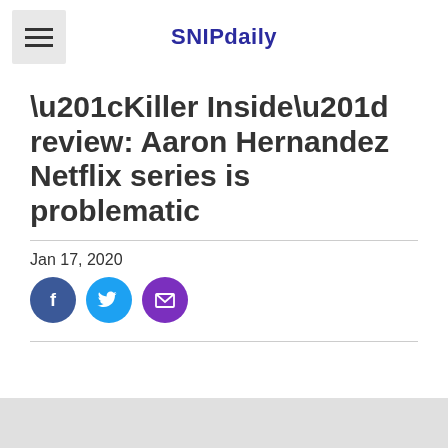SNIPdaily
“Killer Inside” review: Aaron Hernandez Netflix series is problematic
Jan 17, 2020
[Figure (infographic): Social share buttons: Facebook (blue circle), Twitter (light blue circle), Email (purple circle)]